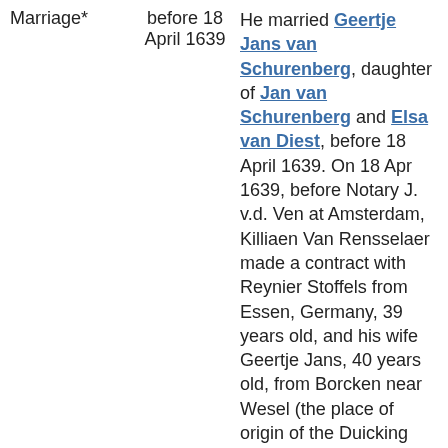Marriage* | before 18 April 1639 | He married Geertje Jans van Schurenberg, daughter of Jan van Schurenberg and Elsa van Diest, before 18 April 1639. On 18 Apr 1639, before Notary J. v.d. Ven at Amsterdam, Killiaen Van Rensselaer made a contract with Reynier Stoffels from Essen, Germany, 39 years old, and his wife Geertje Jans, 40 years old, from Borcken near Wesel (the place of origin of the Duicking family and of Frans Cregier of New Castle, Del., the husband of Walburga de Sille), and her sister Susanna Jans, Killaen van...